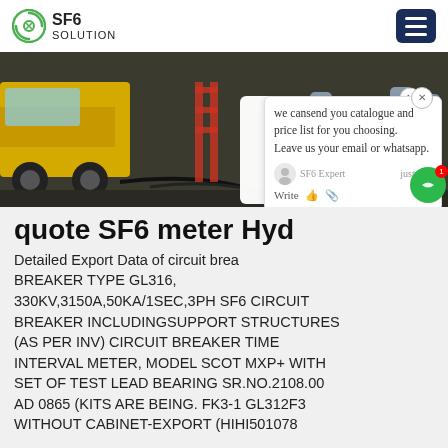SF6 SOLUTION
[Figure (photo): Industrial equipment scene showing a yellow truck, cables, cylinders and industrial equipment in a warehouse or outdoor setting]
quote SF6 meter Hyd...
Detailed Export Data of circuit brea... BREAKER TYPE GL316, 330KV,3150A,50KA/1SEC,3PH SF6 CIRCUIT BREAKER INCLUDINGSUPPORT STRUCTURES (AS PER INV) CIRCUIT BREAKER TIME INTERVAL METER, MODEL SCOT MXP+ WITH SET OF TEST LEAD BEARING SR.NO.2108.00 AD 0865 (KITS ARE BEING. FK3-1 GL312F3 WITHOUT CABINET-EXPORT (HIHI501078